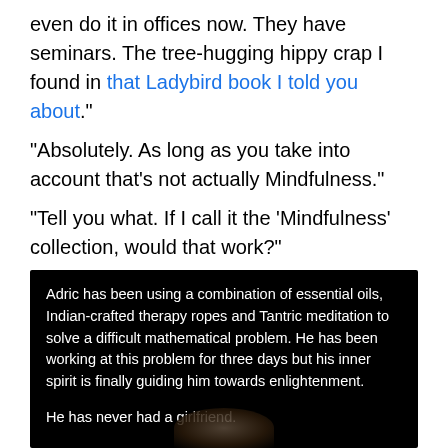even do it in offices now. They have seminars. The tree-hugging hippy crap I found in that Ladybird book I told you about."
"Absolutely. As long as you take into account that's not actually Mindfulness."
"Tell you what. If I call it the ‘Mindfulness’ collection, would that work?"
"Yes," she said. “That’ll work."
[Figure (screenshot): Dark image panel with white text caption: 'Adric has been using a combination of essential oils, Indian-crafted therapy ropes and Tantric meditation to solve a difficult mathematical problem. He has been working at this problem for three days but his inner spirit is finally guiding him towards enlightenment.' followed by 'He has never had a girlfriend.' with a partial face/head visible at the bottom.]